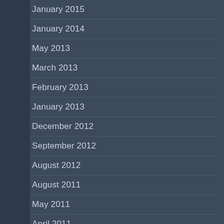January 2015
January 2014
May 2013
March 2013
February 2013
January 2013
December 2012
September 2012
August 2012
August 2011
May 2011
April 2011
March 2011